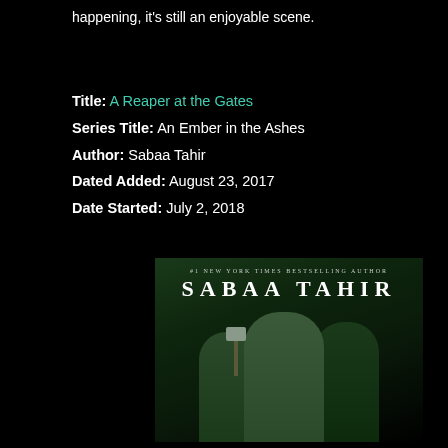happening, it’s still an enjoyable scene.
Title: A Reaper at the Gates
Series Title: An Ember in the Ashes
Author: Sabaa Tahir
Dated Added: August 23, 2017
Date Started: July 2, 2018
[Figure (photo): Book cover of 'A Reaper at the Gates' by Sabaa Tahir. Shows three figures — a woman in armor holding a hammer, a hooded figure with a sword, and another figure — all with a dark green tinted background. Text reads '#1 New York Times Bestselling Author' and 'SABAA TAHIR' in large letters at the top.]